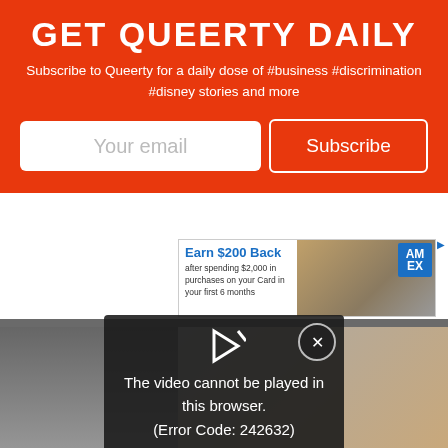GET QUEERTY DAILY
Subscribe to Queerty for a daily dose of #business #discrimination #disney stories and more
[Figure (screenshot): Email subscription form with 'Your email' input field and 'Subscribe' button on orange background]
[Figure (screenshot): American Express advertisement banner: 'Earn $200 Back after spending $2,000 in purchases on your Card in your first 6 months']
[Figure (screenshot): Video error overlay showing 'The video cannot be played in this browser. (Error Code: 242632)' with play icon and close button]
[Figure (screenshot): Blue Cash Everyday Card from American Express advertisement with arrow button]